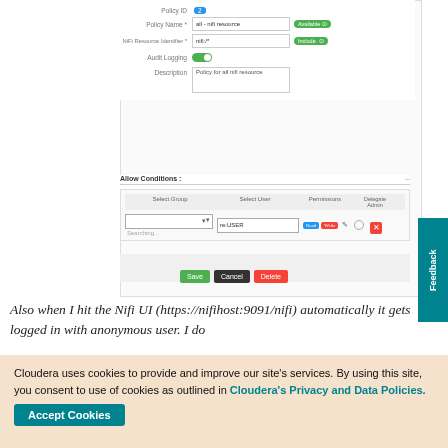[Figure (screenshot): Screenshot of a policy editor form showing fields: Policy ID (2), Policy Name (all-nifi-resource), NiFi Resource Identifier (nifi:/*), Audit Logging (ON toggle), Description (Policy for all nifi resource), and Allow Conditions table with Select Group dropdown (Searching...), Select User field (re:USER), Permissions (Read, Write badges), Delegate Admin radio, and delete button. Bottom has Save, Cancel, Delete buttons. A teal Feedback tab is visible on the right side.]
Also when I hit the Nifi UI (https://nifihost:9091/nifi) automatically it gets logged in with anonymous user. I do
Cloudera uses cookies to provide and improve our site's services. By using this site, you consent to use of cookies as outlined in Cloudera's Privacy and Data Policies.
Accept Cookies